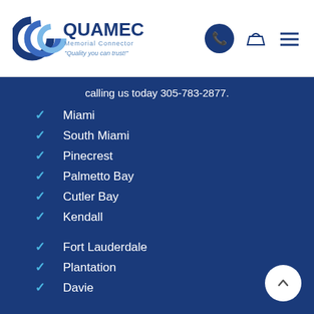QUAMEC — Memorial Connector — "Quality you can trust!"
calling us today 305-783-2877.
Miami
South Miami
Pinecrest
Palmetto Bay
Cutler Bay
Kendall
Fort Lauderdale
Plantation
Davie